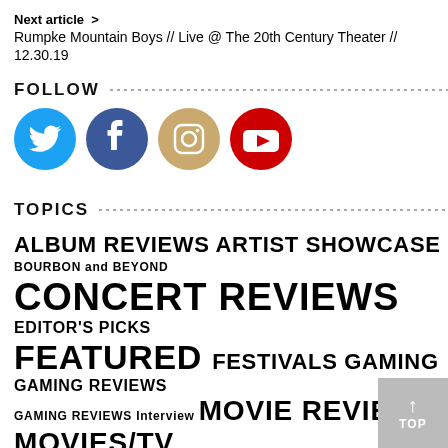Next article > Rumpke Mountain Boys // Live @ The 20th Century Theater // 12.30.19
FOLLOW
[Figure (illustration): Four social media icons: Twitter (blue bird), Facebook (blue f), Instagram (camera), YouTube (red play button)]
TOPICS
ALBUM REVIEWS ARTIST SHOWCASE BOURBON and BEYOND CONCERT REVIEWS EDITOR'S PICKS FEATURED FESTIVALS GAMING GAMING REVIEWS GAMING REVIEWS Interview MOVIE REVIEWS MOVIES/TV MUSIC NEWS PRESS RELEASE PREVIEW THINK PIE